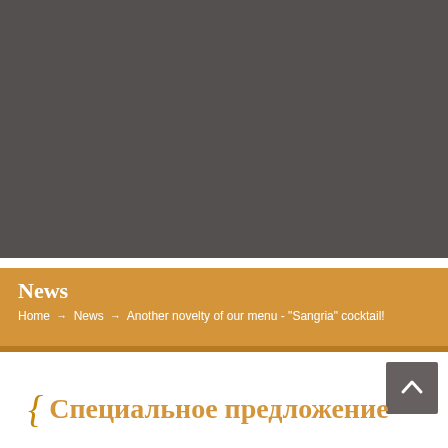[Figure (photo): Dark gray hero image area at the top of the page]
News
Home → News → Another novelty of our menu - "Sangria" cocktail!
Специальное предложение